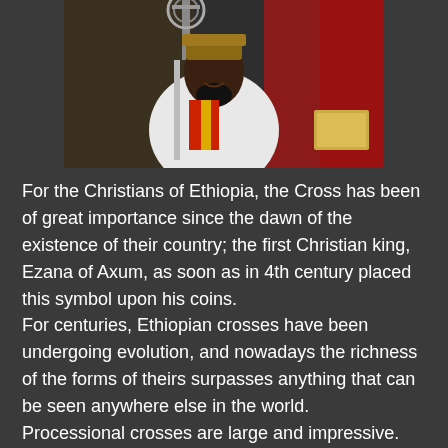[Figure (photo): A smiling man, likely an Ethiopian Orthodox priest or religious leader, wearing white robes and an ornate crown/headdress, holding an elaborate processional cross. A red curtain or fabric is visible to the right.]
For the Christians of Ethiopia, the Cross has been of great importance since the dawn of the existence of their country; the first Christian king, Ezana of Axum, as soon as in 4th century placed this symbol upon his coins.
For centuries, Ethiopian crosses have been undergoing evolution, and nowadays the richness of the forms of theirs surpasses anything that can be seen anywhere else in the world.
Processional crosses are large and impressive. They have